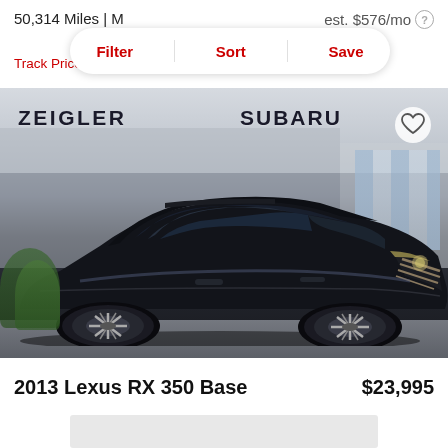50,314 Miles | M...
est. $576/mo
Filter | Sort | Save
Track Price   Che...
[Figure (photo): Black 2013 Lexus RX 350 SUV parked in front of Zeigler Subaru dealership. The vehicle is photographed from a front three-quarter angle showing the full vehicle. Dealership signage reading ZEIGLER and SUBARU is visible in the background.]
2013 Lexus RX 350 Base   $23,995